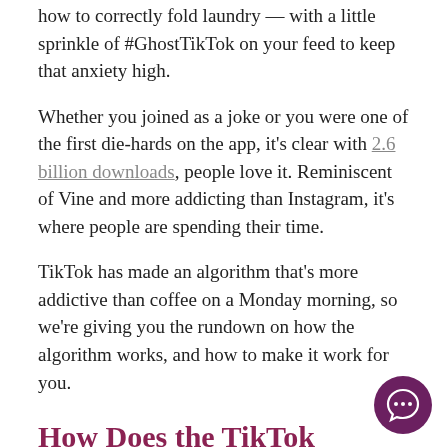how to correctly fold laundry — with a little sprinkle of #GhostTikTok on your feed to keep that anxiety high.
Whether you joined as a joke or you were one of the first die-hards on the app, it's clear with 2.6 billion downloads, people love it. Reminiscent of Vine and more addicting than Instagram, it's where people are spending their time.
TikTok has made an algorithm that's more addictive than coffee on a Monday morning, so we're giving you the rundown on how the algorithm works, and how to make it work for you.
How Does the TikTok Algorithm Work?
[Figure (other): Purple circular chat bubble icon in bottom right corner]